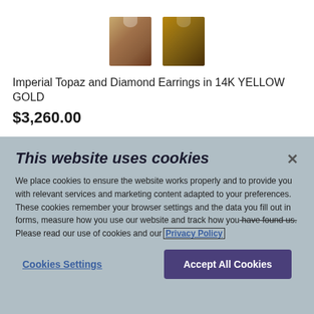[Figure (photo): Two Imperial Topaz and Diamond Earrings in 14K Yellow Gold product images shown from the top portion of an e-commerce listing page]
Imperial Topaz and Diamond Earrings in 14K YELLOW GOLD
$3,260.00
This website uses cookies
We place cookies to ensure the website works properly and to provide you with relevant services and marketing content adapted to your preferences. These cookies remember your browser settings and the data you fill out in forms, measure how you use our website and track how you have found us. Please read our use of cookies and our Privacy Policy
Cookies Settings
Accept All Cookies